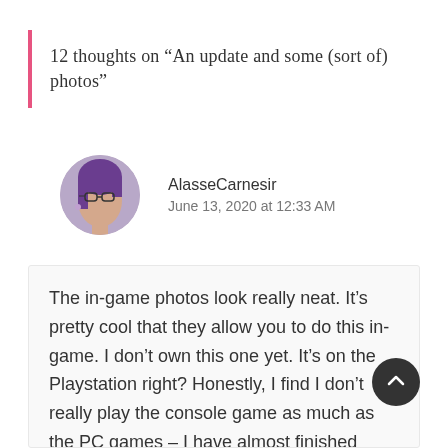12 thoughts on “An update and some (sort of) photos”
[Figure (illustration): Circular avatar photo of a person with purple hair and glasses, used as a commenter profile image.]
AlasseCarnesir
June 13, 2020 at 12:33 AM
The in-game photos look really neat. It’s pretty cool that they allow you to do this in-game. I don’t own this one yet. It’s on the Playstation right? Honestly, I find I don’t really play the console game as much as the PC games – I have almost finished Drgaonquest 11 – I have a few fin happen to go through but their dungeon levels